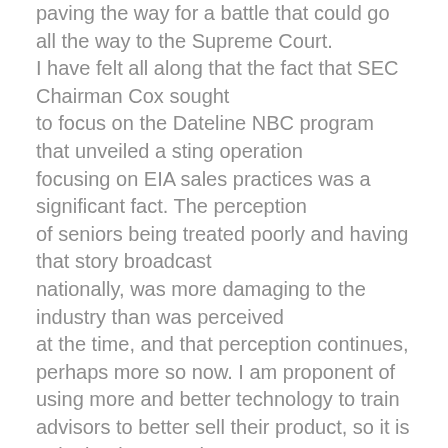paving the way for a battle that could go all the way to the Supreme Court. I have felt all along that the fact that SEC Chairman Cox sought to focus on the Dateline NBC program that unveiled a sting operation focusing on EIA sales practices was a significant fact. The perception of seniors being treated poorly and having that story broadcast nationally, was more damaging to the industry than was perceived at the time, and that perception continues, perhaps more so now. I am proponent of using more and better technology to train advisors to better sell their product, so it is quite ironic to me that the disposition of this debate may come down to how much